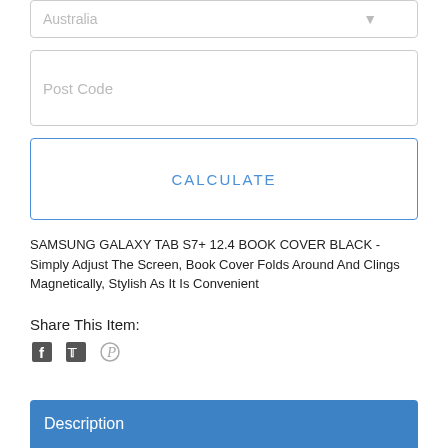Australia
Post Code
CALCULATE
SAMSUNG GALAXY TAB S7+ 12.4 BOOK COVER BLACK - Simply Adjust The Screen, Book Cover Folds Around And Clings Magnetically, Stylish As It Is Convenient
Share This Item:
[Figure (infographic): Social share icons: Facebook, Twitter, Pinterest]
Description
SAMSUNG GALAXY TAB S7+ 12.4 BOOK COVER BLACK
Wrap your tablet in a sleek case that's as stylish as it is